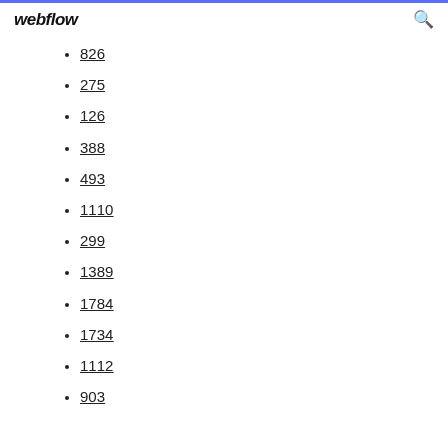webflow
826
275
126
388
493
1110
299
1389
1784
1734
1112
903